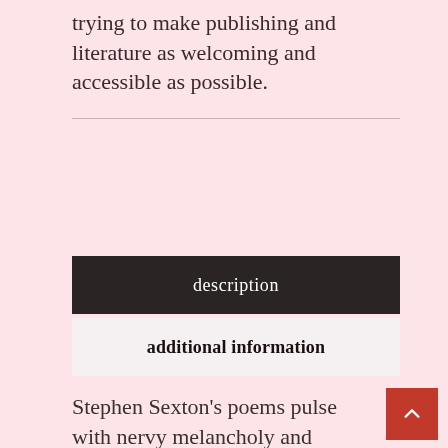trying to make publishing and literature as welcoming and accessible as possible.
description
additional information
Stephen Sexton's poems pulse with nervy melancholy and twang with a